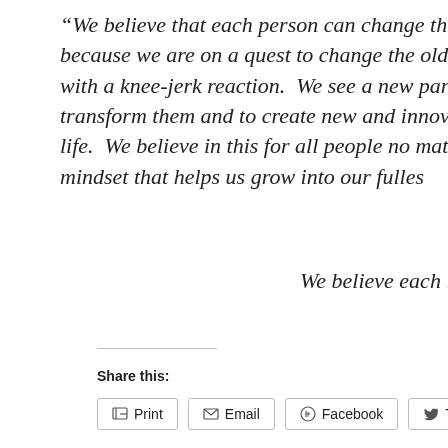“We believe that each person can change their destiny and collectively because we are on a quest to change the old paradigm that approaches with a knee-jerk reaction. We see a new paradigm that uses the hi transform them and to create new and innovative pathways to living life. We believe in this for all people no matter the social level, creed mindset that helps us grow into our fulles
We believe each individual can do this. We b
Share this:
Print  Email  Facebook  Twitter
Like  One blogger likes this.
This entry was posted in Uncategorized. Bookmark the permalink.
← First Community Screening and Live Q+A session announced for  Artistic expr